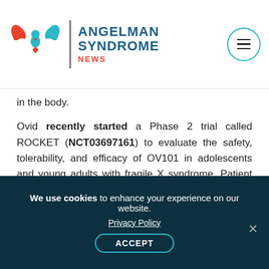[Figure (logo): Angelman Syndrome News logo with eagle wings in red and teal, vertical divider, and site name text]
in the body.
Ovid recently started a Phase 2 trial called ROCKET (NCT03697161) to evaluate the safety, tolerability, and efficacy of OV101 in adolescents and young adults with fragile X syndrome. Patient enrollment is ongoing; more information is available here.
Print This Article
We use cookies to enhance your experience on our website. Privacy Policy ACCEPT